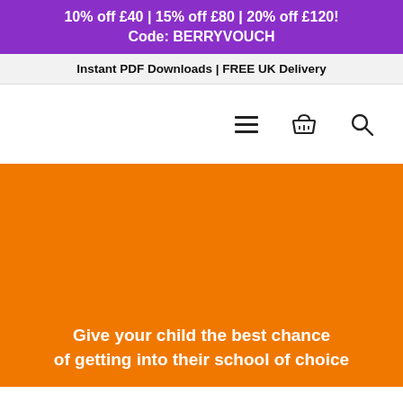10% off £40 | 15% off £80 | 20% off £120!
Code: BERRYVOUCH
Instant PDF Downloads | FREE UK Delivery
[Figure (screenshot): Navigation bar with hamburger menu icon, shopping basket icon, and search icon on white background]
[Figure (illustration): Large orange hero banner section]
Give your child the best chance of getting into their school of choice